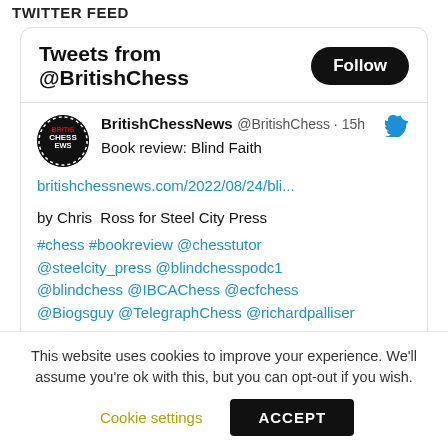TWITTER FEED
[Figure (screenshot): Twitter widget showing tweets from @BritishChess with a Follow button, and a tweet from BritishChessNews about a book review of Blind Faith, with a link, attribution, and hashtags/mentions.]
This website uses cookies to improve your experience. We'll assume you're ok with this, but you can opt-out if you wish.
Cookie settings  ACCEPT